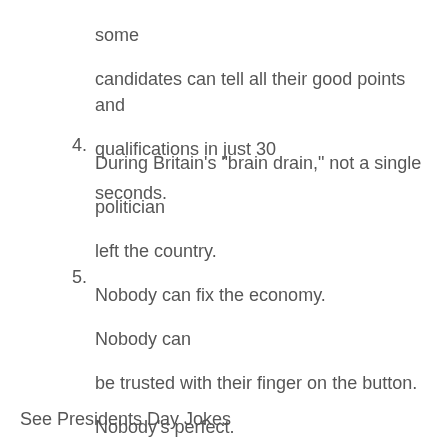some candidates can tell all their good points and qualifications in just 30 seconds.
4. During Britain's "brain drain," not a single politician left the country.
5. Nobody can fix the economy. Nobody can be trusted with their finger on the button. Nobody's perfect. Vote for Nobody.
See Presidents Day Jokes